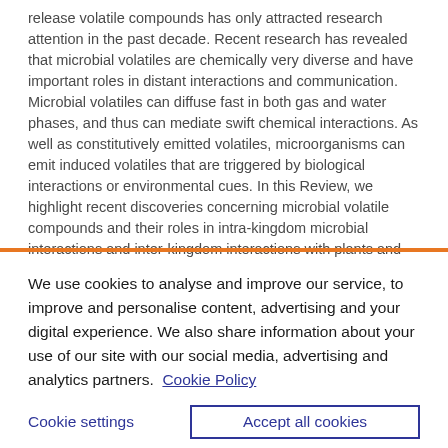release volatile compounds has only attracted research attention in the past decade. Recent research has revealed that microbial volatiles are chemically very diverse and have important roles in distant interactions and communication. Microbial volatiles can diffuse fast in both gas and water phases, and thus can mediate swift chemical interactions. As well as constitutively emitted volatiles, microorganisms can emit induced volatiles that are triggered by biological interactions or environmental cues. In this Review, we highlight recent discoveries concerning microbial volatile compounds and their roles in intra-kingdom microbial interactions and inter-kingdom interactions with plants and insects. Furthermore, we indicate the potential biotechnological
We use cookies to analyse and improve our service, to improve and personalise content, advertising and your digital experience. We also share information about your use of our site with our social media, advertising and analytics partners.  Cookie Policy
Cookie settings
Accept all cookies